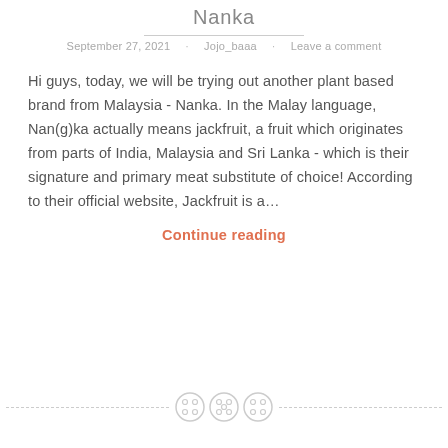Nanka
September 27, 2021 · Jojo_baaa · Leave a comment
Hi guys, today, we will be trying out another plant based brand from Malaysia - Nanka. In the Malay language, Nan(g)ka actually means jackfruit, a fruit which originates from parts of India, Malaysia and Sri Lanka - which is their signature and primary meat substitute of choice! According to their official website, Jackfruit is a…
Continue reading